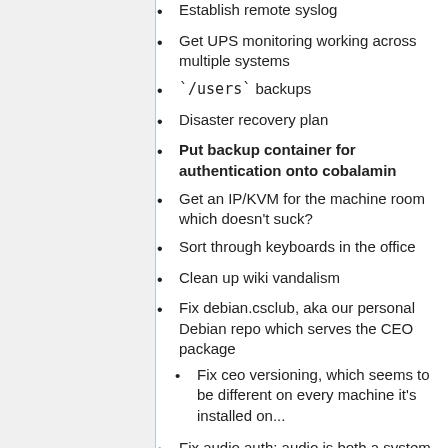Establish remote syslog
Get UPS monitoring working across multiple systems
`/users` backups
Disaster recovery plan
Put backup container for authentication onto cobalamin
Get an IP/KVM for the machine room which doesn't suck?
Sort through keyboards in the office
Clean up wiki vandalism
Fix debian.csclub, aka our personal Debian repo which serves the CEO package
Fix ceo versioning, which seems to be different on every machine it's installed on...
Fix audio auth: audio is both a system group and an LDAP group and this has had consequences for